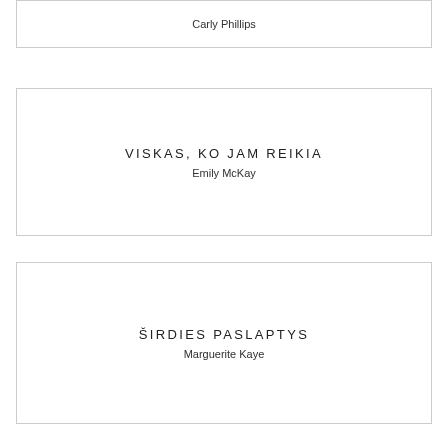Carly Phillips
VISKAS, KO JAM REIKIA
Emily McKay
ŠIRDIES PASLAPTYS
Marguerite Kaye